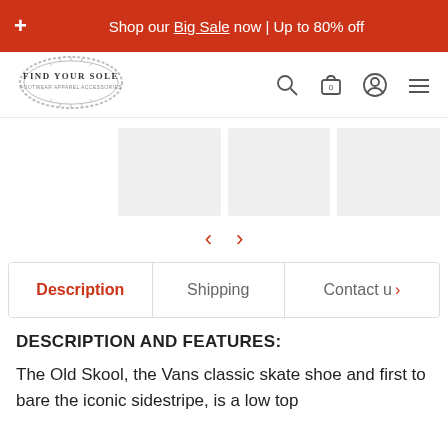Shop our Big Sale now | Up to 80% off
[Figure (logo): Find Your Sole logo — oval shaped logo with text FIND YOUR SOLE and footwear apparel accessories]
[Figure (screenshot): Product image thumbnails row with 4 placeholder grey boxes and carousel left/right navigation arrows]
Description | Shipping | Contact u >
DESCRIPTION AND FEATURES:
The Old Skool, the Vans classic skate shoe and first to bare the iconic sidestripe, is a low top